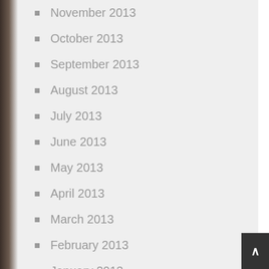November 2013
October 2013
September 2013
August 2013
July 2013
June 2013
May 2013
April 2013
March 2013
February 2013
January 2013
November 2012
October 2012
September 2012
August 2012
June 2012
May 2012